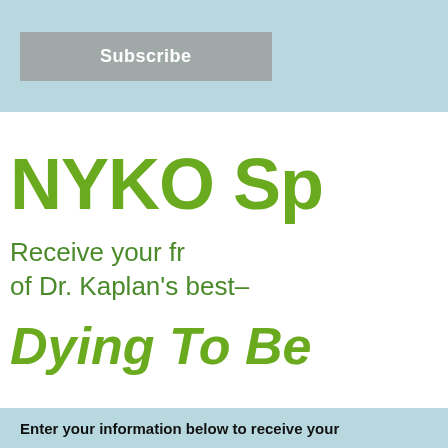Subscribe
NYKO Sp
Receive your fr of Dr. Kaplan's best-
Dying To Be
Enter your information below to receive your